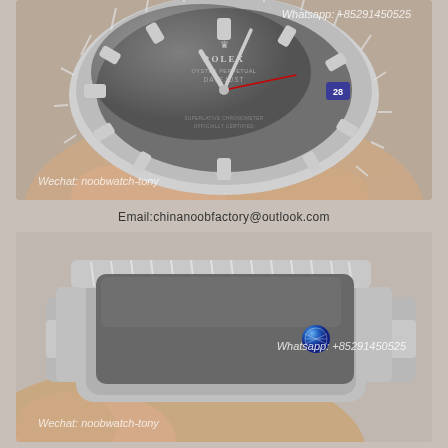[Figure (photo): Top-down view of a Rolex Datejust watch face with grey/rhodium dial, fluted bezel, silver hour markers, held in a hand. Blue date magnifier visible at 3 o'clock.]
Whatsapp: +85291450525
Wechat: noobwatch-tony
Email:chinanoobfactory@outlook.com
[Figure (photo): Side profile view of a Rolex Datejust watch showing the fluted bezel, grey dial edge, blue crown/winding crown, and stainless steel Jubilee/Oyster bracelet, held in a hand.]
Whatsapp: +85291450525
Wechat: noobwatch-tony